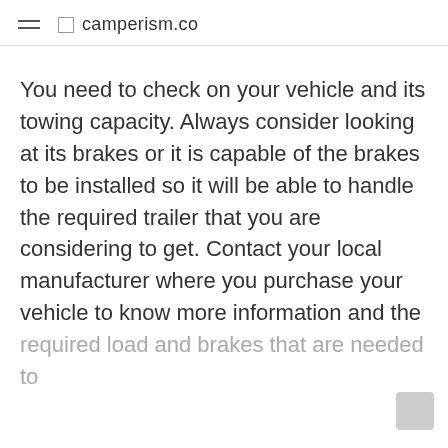camperism.co
You need to check on your vehicle and its towing capacity. Always consider looking at its brakes or it is capable of the brakes to be installed so it will be able to handle the required trailer that you are considering to get. Contact your local manufacturer where you purchase your vehicle to know more information and the required load and brakes that are needed to